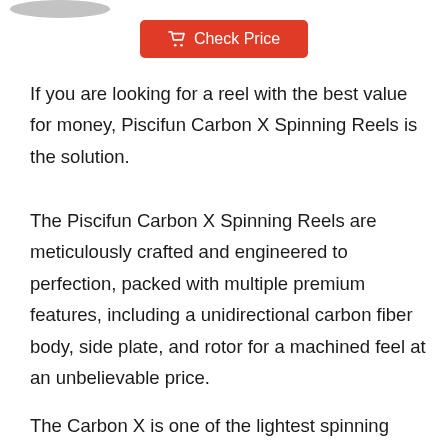[Figure (photo): Partial product image at top of page (cropped fishing reel)]
Check Price button with shopping cart icon
If you are looking for a reel with the best value for money, Piscifun Carbon X Spinning Reels is the solution.
The Piscifun Carbon X Spinning Reels are meticulously crafted and engineered to perfection, packed with multiple premium features, including a unidirectional carbon fiber body, side plate, and rotor for a machined feel at an unbelievable price.
The Carbon X is one of the lightest spinning reels